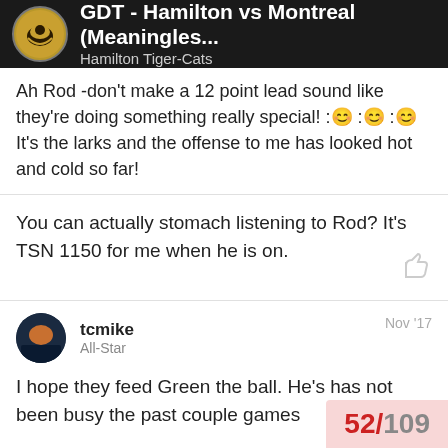GDT - Hamilton vs Montreal (Meaningles... | Hamilton Tiger-Cats
Ah Rod -don't make a 12 point lead sound like they're doing something really special! :🙂 :🙂 :🙂 It's the larks and the offense to me has looked hot and cold so far!
You can actually stomach listening to Rod? It's TSN 1150 for me when he is on.
tcmike | All-Star | Nov '17
I hope they feed Green the ball. He's has not been busy the past couple games
52 / 109